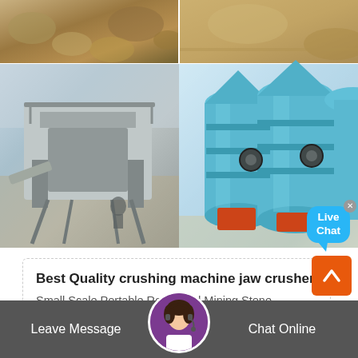[Figure (photo): Four-panel image collage showing mining/crushing machinery: top-left shows crushed rock/gravel, top-right shows mining site with rock face, bottom-left shows a portable jaw crusher machine on-site, bottom-right shows blue cylindrical milling/grinding machines]
Live Chat
Best Quality crushing machine jaw crusher
Small Scale Portable Rock Gold Mining Stone Crushing Machine 1-3 TPH PE150*250 Mobile Mini Jaw Crusher with Diesel Engine...
$1,750.00-$2,400.00 / Set 1 Set (Min. Order)
Leave Message   Chat Online